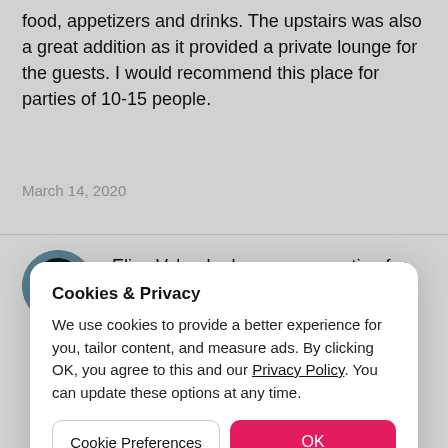food, appetizers and drinks. The upstairs was also a great addition as it provided a private lounge for the guests. I would recommend this place for parties of 10-15 people.
March 14, 2020
Elisa V. booked an group meeting for 10 people
[Figure (photo): Profile photo of a person wearing sunglasses]
Cookies & Privacy
We use cookies to provide a better experience for you, tailor content, and measure ads. By clicking OK, you agree to this and our Privacy Policy. You can update these options at any time.
Cookie Preferences
OK